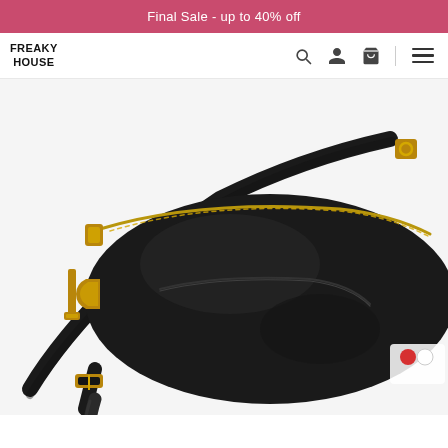Final Sale - up to 40% off
[Figure (logo): Freaky House brand logo in bold uppercase text]
[Figure (photo): Black leather fanny pack / belt bag with gold-tone zipper hardware, crossbody strap with buckle, and a front zip pocket. Shot against white background.]